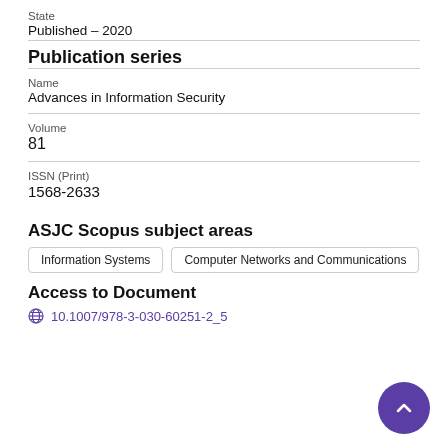State
Published – 2020
Publication series
Name
Advances in Information Security
Volume
81
ISSN (Print)
1568-2633
ASJC Scopus subject areas
Information Systems
Computer Networks and Communications
Access to Document
10.1007/978-3-030-60251-2_5